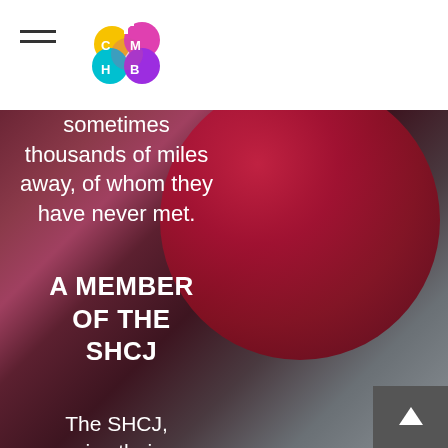CMHB logo and hamburger menu
sometimes thousands of miles away, of whom they have never met.
A MEMBER OF THE SHCJ
The SHCJ, give their